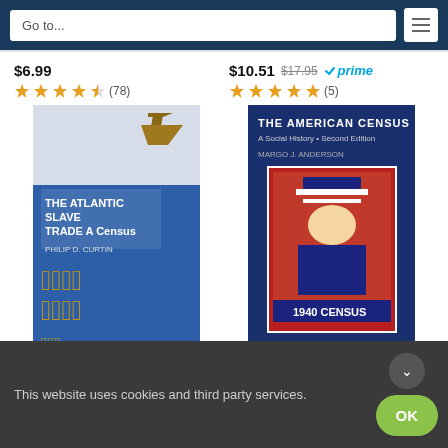Go to...
$6.99  ★★★★☆ (78)
$10.51  $17.95  prime  ★★★★★ (5)
[Figure (photo): Book cover: The Atlantic Slave Trade: A Census by Philip D. Curtin. Blue cover with golden figurative designs.]
The Atlantic Slave Trade: A Census
$21.95  prime  ★★★★☆ (12)
[Figure (photo): Book cover: The American Census: A Social History, Second Edition. Dark blue cover with 1940 Census poster imagery.]
The American Census: A Social History
$20.92  $30.00  ★★★★★ (18)
Ads by Amazon
This website uses cookies and third party services.